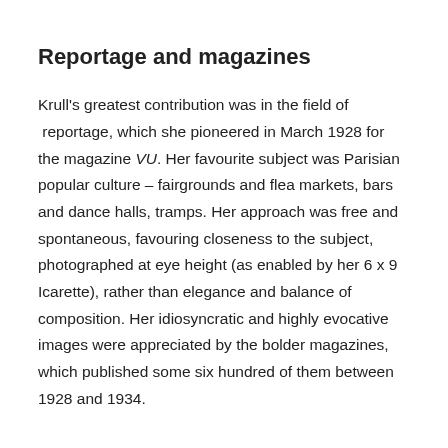Reportage and magazines
Krull's greatest contribution was in the field of  reportage, which she pioneered in March 1928 for the magazine VU. Her favourite subject was Parisian popular culture – fairgrounds and flea markets, bars and dance halls, tramps. Her approach was free and spontaneous, favouring closeness to the subject, photographed at eye height (as enabled by her 6 x 9 Icarette), rather than elegance and balance of composition. Her idiosyncratic and highly evocative images were appreciated by the bolder magazines, which published some six hundred of them between 1928 and 1934.